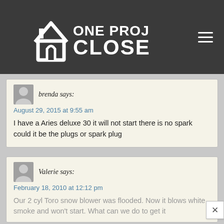[Figure (logo): One Project Closer logo with house icon on dark background, hamburger menu icon top right]
brenda says:
August 29, 2015 at 9:55 am
I have a Aries deluxe 30 it will not start there is no spark could it be the plugs or spark plug
Valerie says:
February 18, 2010 at 12:12 pm
Our 2 cyl Toro snow blower was flooded. Now it blows white smoke and won't start. What can we do to get it